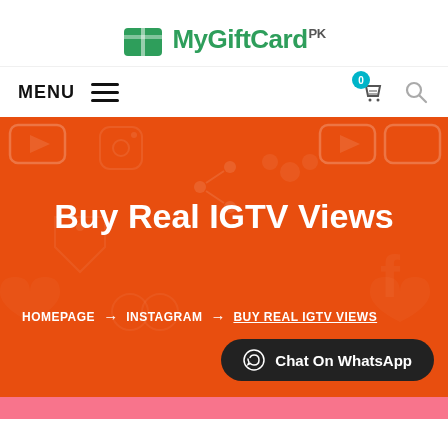[Figure (logo): MyGiftCard PK logo with green gift box icon]
MENU (hamburger icon) | cart icon with badge 0 | search icon
Buy Real IGTV Views
HOMEPAGE → INSTAGRAM → BUY REAL IGTV VIEWS
Chat On WhatsApp